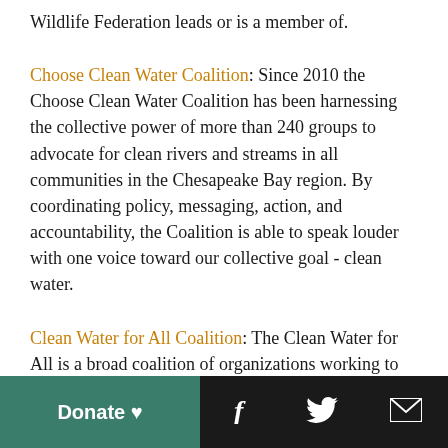Wildlife Federation leads or is a member of.
Choose Clean Water Coalition: Since 2010 the Choose Clean Water Coalition has been harnessing the collective power of more than 240 groups to advocate for clean rivers and streams in all communities in the Chesapeake Bay region. By coordinating policy, messaging, action, and accountability, the Coalition is able to speak louder with one voice toward our collective goal - clean water.
Clean Water for All Coalition: The Clean Water for All is a broad coalition of organizations working to elevate the importance of clean water for everyone through strategic
Donate ♥  [Facebook] [Twitter] [Email]